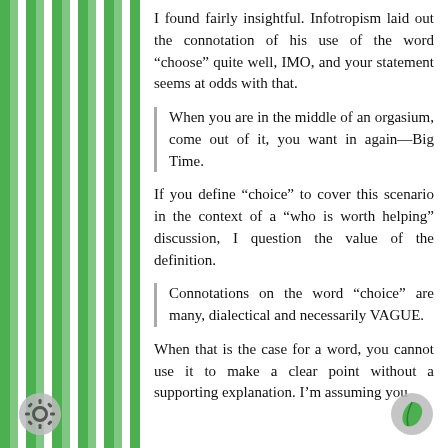I found fairly insightful. Infotropism laid out the connotation of his use of the word “choose” quite well, IMO, and your statement seems at odds with that.
When you are in the middle of an orgasium, come out of it, you want in again—Big Time.
If you define “choice” to cover this scenario in the context of a “who is worth helping” discussion, I question the value of the definition.
Connotations on the word “choice” are many, dialectical and necessarily VAGUE.
When that is the case for a word, you cannot use it to make a clear point without a supporting explanation. I’m assuming you